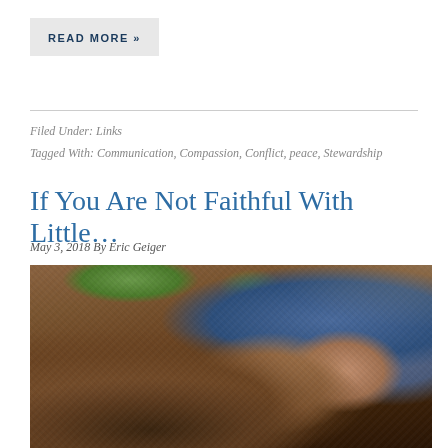READ MORE »
Filed Under: Links
Tagged With: Communication, Compassion, Conflict, peace, Stewardship
If You Are Not Faithful With Little…
May 3, 2018 By Eric Geiger
[Figure (photo): A person kneeling in a garden bed planting seeds in dark brown soil, wearing blue jeans and a plaid shirt, with small green seedlings visible in the background.]